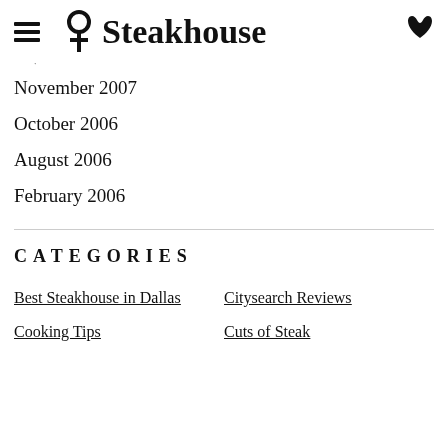☰ ♀Steakhouse ☎
·
November 2007
October 2006
August 2006
February 2006
CATEGORIES
Best Steakhouse in Dallas
Citysearch Reviews
Cooking Tips
Cuts of Steak